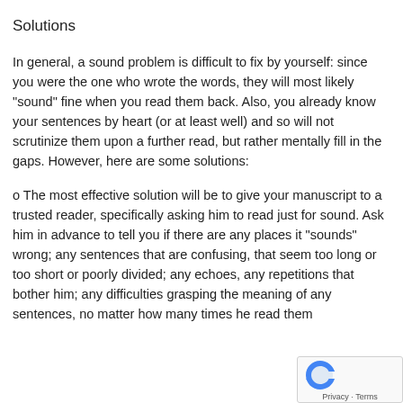Solutions
In general, a sound problem is difficult to fix by yourself: since you were the one who wrote the words, they will most likely "sound" fine when you read them back. Also, you already know your sentences by heart (or at least well) and so will not scrutinize them upon a further read, but rather mentally fill in the gaps. However, here are some solutions:
o The most effective solution will be to give your manuscript to a trusted reader, specifically asking him to read just for sound. Ask him in advance to tell you if there are any places it "sounds" wrong; any sentences that are confusing, that seem too long or too short or poorly divided; any echoes, any repetitions that bother him; any difficulties grasping the meaning of any sentences, no matter how many times he read them